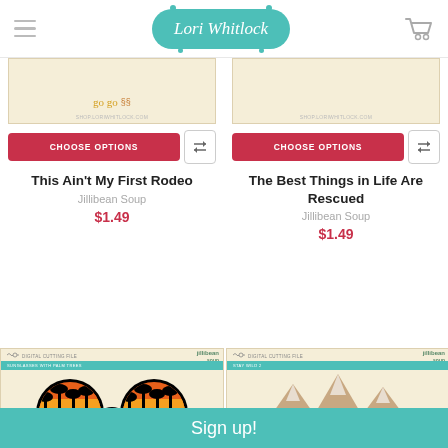Lori Whitlock
[Figure (photo): Cropped top portion of product packaging for 'This Ain't My First Rodeo' digital cutting file by Jillibean Soup]
[Figure (photo): Cropped top portion of product packaging for 'The Best Things in Life Are Rescued' digital cutting file by Jillibean Soup]
CHOOSE OPTIONS
CHOOSE OPTIONS
This Ain't My First Rodeo
Jillibean Soup
$1.49
The Best Things in Life Are Rescued
Jillibean Soup
$1.49
[Figure (photo): Jillibean Soup digital cutting file packaging showing sunglasses with palm trees silhouette design in sunset colors]
[Figure (photo): Jillibean Soup digital cutting file packaging showing mountains with pine trees and 'STAY WILD' text]
Sign up!